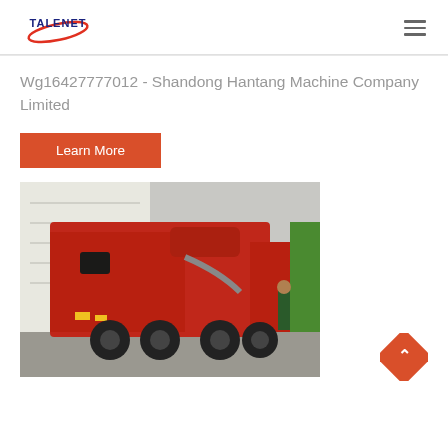[Figure (logo): Talenet company logo with red swoosh and blue text 'TALENET']
Wg16427777012 - Shandong Hantang Machine Company Limited
Learn More
[Figure (photo): Red garbage/refuse truck photographed from the rear-side angle in a loading area, with a person standing nearby and green truck visible in background]